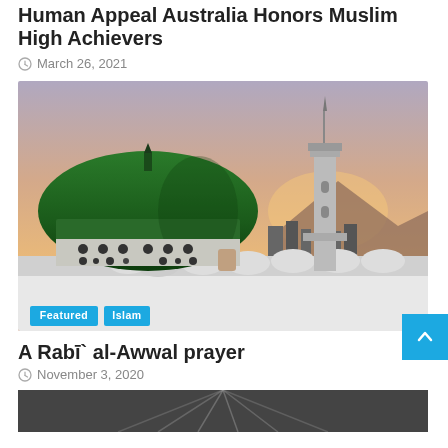Human Appeal Australia Honors Muslim High Achievers
March 26, 2021
[Figure (photo): A mosque with a large green dome and a tall minaret at sunset, with smaller white domes in the foreground. Tags 'Featured' and 'Islam' overlaid at bottom left.]
A Rabī` al-Awwal prayer
November 3, 2020
[Figure (photo): Partial view of a dark image, cropped at bottom of page.]